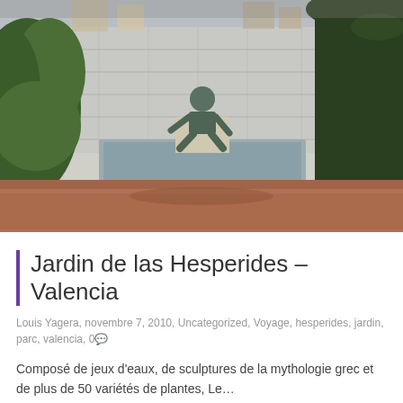[Figure (photo): Outdoor garden scene with a bronze sculpture of a crouching figure sitting on a stone pedestal in a shallow fountain pool, flanked by tall dark cypress trees on the right and green leafy shrubs on the left, with a concrete block wall behind, and reddish-brown gravel ground in the foreground.]
Jardin de las Hesperides – Valencia
Louis Yagera, novembre 7, 2010, Uncategorized, Voyage, hesperides, jardin, parc, valencia, 0
Composé de jeux d'eaux, de sculptures de la mythologie grec et de plus de 50 variétés de plantes, Le…